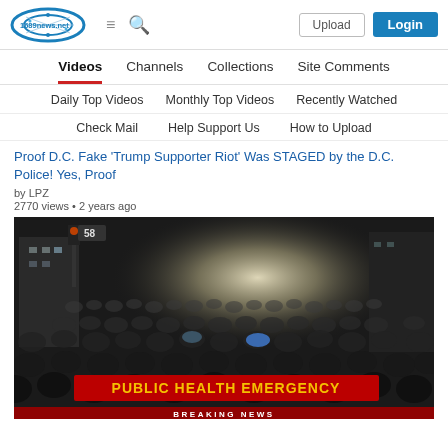1689news.net — Upload | Login
Videos | Channels | Collections | Site Comments
Daily Top Videos | Monthly Top Videos | Recently Watched
Check Mail | Help Support Us | How to Upload
Proof D.C. Fake 'Trump Supporter Riot' Was STAGED by the D.C. Police! Yes, Proof
by LPZ
2770 views • 2 years ago
[Figure (screenshot): Video thumbnail showing a large crowd in a city street with a red banner reading PUBLIC HEALTH EMERGENCY and a lower banner reading BREAKING NEWS]